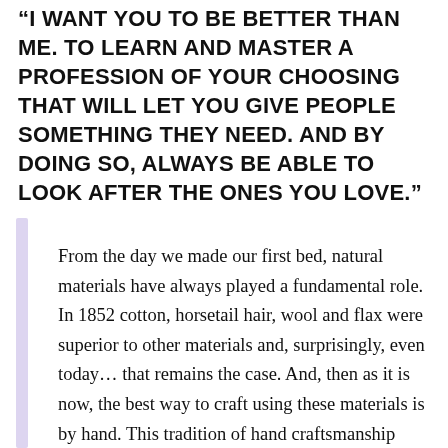“I WANT YOU TO BE BETTER THAN ME. TO LEARN AND MASTER A PROFESSION OF YOUR CHOOSING THAT WILL LET YOU GIVE PEOPLE SOMETHING THEY NEED. AND BY DOING SO, ALWAYS BE ABLE TO LOOK AFTER THE ONES YOU LOVE.”
From the day we made our first bed, natural materials have always played a fundamental role. In 1852 cotton, horsetail hair, wool and flax were superior to other materials and, surprisingly, even today… that remains the case. And, then as it is now, the best way to craft using these materials is by hand. This tradition of hand craftsmanship gives our bed makers a deeply rooted understanding and